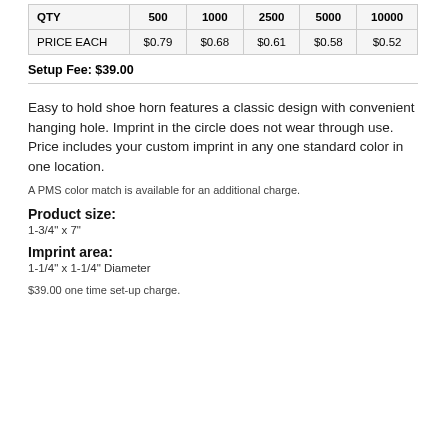| QTY | 500 | 1000 | 2500 | 5000 | 10000 |
| --- | --- | --- | --- | --- | --- |
| PRICE EACH | $0.79 | $0.68 | $0.61 | $0.58 | $0.52 |
Setup Fee: $39.00
Easy to hold shoe horn features a classic design with convenient hanging hole. Imprint in the circle does not wear through use.
Price includes your custom imprint in any one standard color in one location.
A PMS color match is available for an additional charge.
Product size:
1-3/4" x 7"
Imprint area:
1-1/4" x 1-1/4" Diameter
$39.00 one time set-up charge.